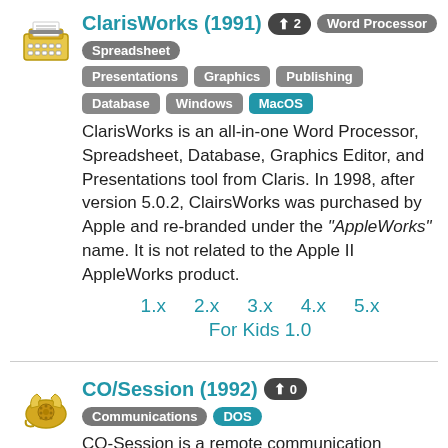ClarisWorks (1991)
Word Processor, Spreadsheet, Presentations, Graphics, Publishing, Database, Windows, MacOS
ClarisWorks is an all-in-one Word Processor, Spreadsheet, Database, Graphics Editor, and Presentations tool from Claris. In 1998, after version 5.0.2, ClairsWorks was purchased by Apple and re-branded under the "AppleWorks" name. It is not related to the Apple II AppleWorks product.
1.x  2.x  3.x  4.x  5.x
For Kids 1.0
CO/Session (1992)
Communications, DOS
CO-Session is a remote communication access program that supports remote control, file transfer, automates session, and promoted itself as faster